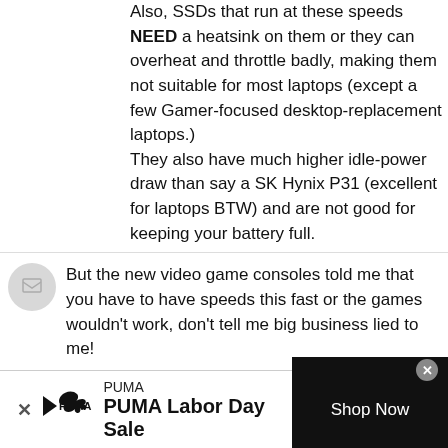Also, SSDs that run at these speeds NEED a heatsink on them or they can overheat and throttle badly, making them not suitable for most laptops (except a few Gamer-focused desktop-replacement laptops.) They also have much higher idle-power draw than say a SK Hynix P31 (excellent for laptops BTW) and are not good for keeping your battery full.
But the new video game consoles told me that you have to have speeds this fast or the games wouldn't work, don't tell me big business lied to me!
These are also good for the PS5.
[Figure (infographic): PUMA advertisement banner with logo, 'PUMA Labor Day Sale' text, and 'Shop Now' button]